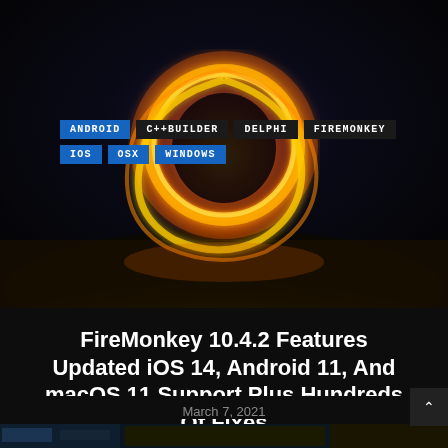[Figure (photo): Hero image showing a glowing orange fire ring/circle against a dark night sky background, created by spinning fire. Navigation tags overlaid on the image.]
ANDROID
C++BUILDER
DELPHI
FIREMONKEY
IOS
OSX
WINDOWS
FireMonkey 10.4.2 Features Updated iOS 14, Android 11, And macOS 11 Support Plus Hundreds Of Fixes
March 7, 2021
[Figure (screenshot): Partial bottom screenshot showing a software interface, partially visible at the bottom of the page.]